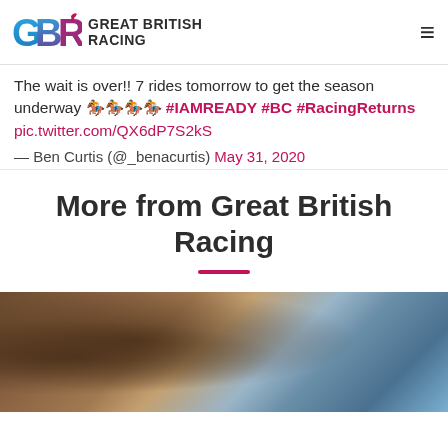GREAT BRITISH RACING
The wait is over!! 7 rides tomorrow to get the season underway 🏇🏇🏇🏇 #IAMREADY #BC #RacingReturns pic.twitter.com/QX6dP7S2kS
— Ben Curtis (@_benacurtis) May 31, 2020
More from Great British Racing
[Figure (photo): Close-up photo of a racehorse with a blue item visible, blurred background]